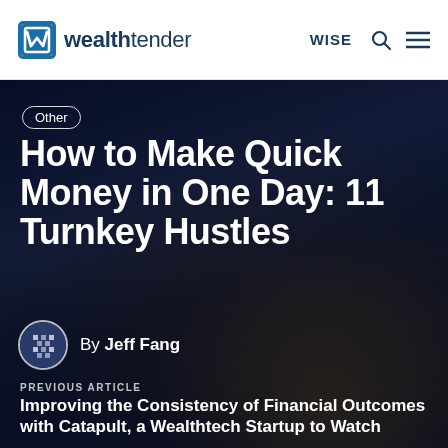wealthtender — WISE
[Figure (screenshot): Hero background image of hands holding US dollar bills, dark blue overlay]
Other
How to Make Quick Money in One Day: 11 Turnkey Hustles
By Jeff Fang
PREVIOUS ARTICLE
Improving the Consistency of Financial Outcomes with Catapult, a Wealthtech Startup to Watch